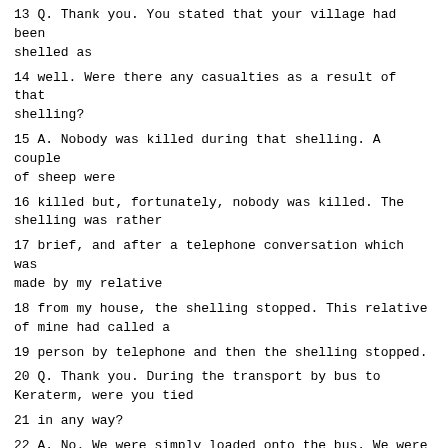13 Q. Thank you. You stated that your village had been shelled as
14 well. Were there any casualties as a result of that shelling?
15 A. Nobody was killed during that shelling. A couple of sheep were
16 killed but, fortunately, nobody was killed. The shelling was rather
17 brief, and after a telephone conversation which was made by my relative
18 from my house, the shelling stopped. This relative of mine had called a
19 person by telephone and then the shelling stopped.
20 Q. Thank you. During the transport by bus to Keraterm, were you tied
21 in any way?
22 A. No. We were simply loaded onto the bus. We were crowded like
23 sardines, but we were not tied in any way, if that is what you have in
24 mind.